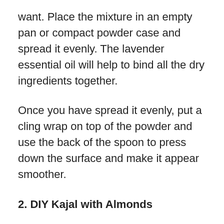want. Place the mixture in an empty pan or compact powder case and spread it evenly. The lavender essential oil will help to bind all the dry ingredients together.
Once you have spread it evenly, put a cling wrap on top of the powder and use the back of the spoon to press down the surface and make it appear smoother.
2. DIY Kajal with Almonds